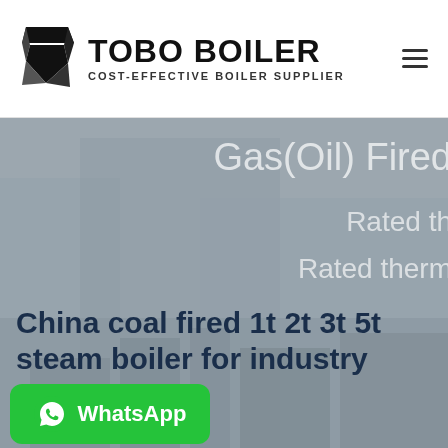[Figure (logo): TOBO BOILER logo with geometric black icon and text 'TOBO BOILER / COST-EFFECTIVE BOILER SUPPLIER']
[Figure (photo): Industrial boiler equipment photograph used as hero background image with gray overlay. Overlay text reads 'Gas(Oil) Fired', 'Rated th', 'Rated therm'. Main title: 'China coal fired 1t 2t 3t 5t steam boiler for industry'. WhatsApp button at bottom left.]
China coal fired 1t 2t 3t 5t steam boiler for industry